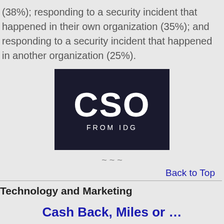(38%); responding to a security incident that happened in their own organization (35%); and responding to a security incident that happened in another organization (25%).
[Figure (logo): CSO FROM IDG logo — white text on dark navy/black background]
~ ~ ~
Back to Top
Technology and Marketing
Cash Back, Miles or … Win? Credit Card Rewards…